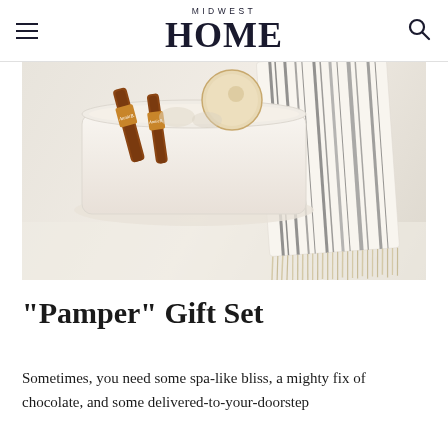MIDWEST HOME
[Figure (photo): A gift basket containing chocolate sticks with 'AnnieB' branding, a round candle, and a striped Turkish towel with fringe draped over the side, on a white background.]
“Pamper” Gift Set
Sometimes, you need some spa-like bliss, a mighty fix of chocolate, and some delivered-to-your-doorstep